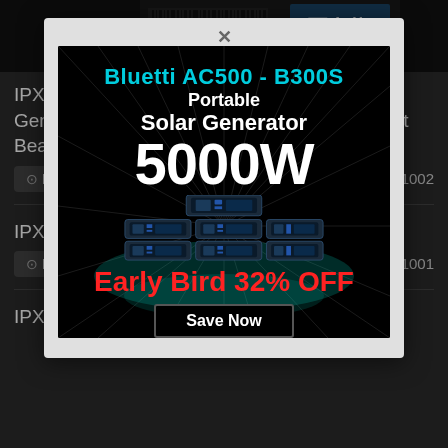[Figure (screenshot): Top banner image with Japanese text including 栗山莉緒 and product packaging]
IPX-685 Smile Older Sister Is Strong With A Gentle Tone ● Semen Robbery Erotic Gap Slut Beauty Treatment Salon Rio K...
⊙ Pla... 1002
IPX-6... ...es To Die A... Squid...
⊙ Pla... 1001
[Figure (infographic): Popup advertisement for Bluetti AC500 - B300S Portable Solar Generator 5000W, Early Bird 32% OFF, Save Now button]
IPX-6... ...he Whole... ...atter How Many...